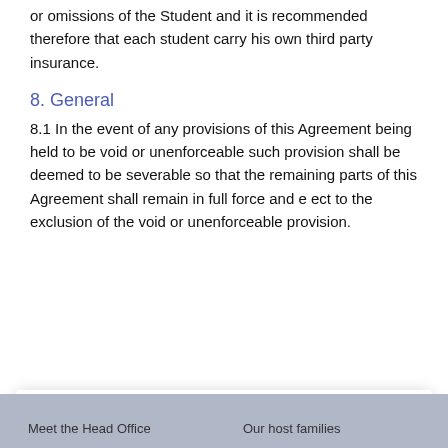or omissions of the Student and it is recommended therefore that each student carry his own third party insurance.
8. General
8.1 In the event of any provisions of this Agreement being held to be void or unenforceable such provision shall be deemed to be severable so that the remaining parts of this Agreement shall remain in full force and e ect to the exclusion of the void or unenforceable provision.
This website uses cookies to ensure you get the best experience on our website. Change your cookie settings at any time.
Continue
Meet the Head Office   Our host families